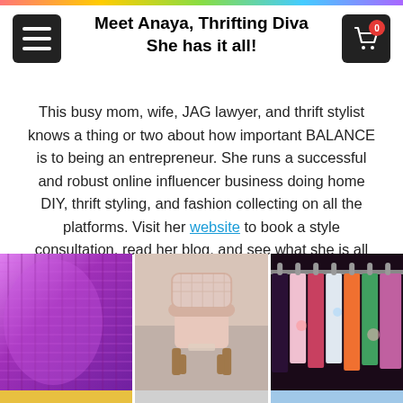Meet Anaya, Thrifting Diva
She has it all!
This busy mom, wife, JAG lawyer, and thrift stylist knows a thing or two about how important BALANCE is to being an entrepreneur. She runs a successful and robust online influencer business doing home DIY, thrift styling, and fashion collecting on all the platforms. Visit her website to book a style consultation, read her blog, and see what she is all about.
[Figure (photo): Three side-by-side photos: a purple woven rug/textile, a pink upholstered chair in a furniture store, and colorful clothing on racks.]